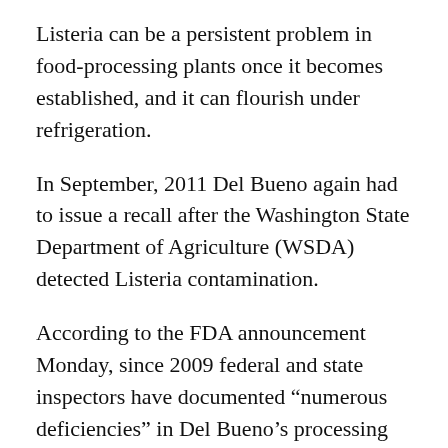Listeria can be a persistent problem in food-processing plants once it becomes established, and it can flourish under refrigeration.
In September, 2011 Del Bueno again had to issue a recall after the Washington State Department of Agriculture (WSDA) detected Listeria contamination.
According to the FDA announcement Monday, since 2009 federal and state inspectors have documented “numerous deficiencies” in Del Bueno’s processing facility and repeatedly advised Rodriguez of the unsanitary conditions there.
Listeriosis, the illness caused by Listeria monocytogenes, can be serious and sometimes can cause fatal infections in young children, frail or older